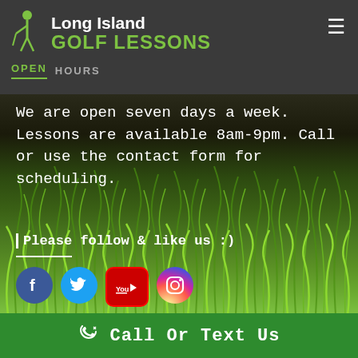Long Island GOLF LESSONS — OPEN HOURS
We are open seven days a week. Lessons are available 8am-9pm. Call or use the contact form for scheduling.
Please follow & like us :)
[Figure (infographic): Social media icons: Facebook, Twitter, YouTube, Instagram]
Call Or Text Us